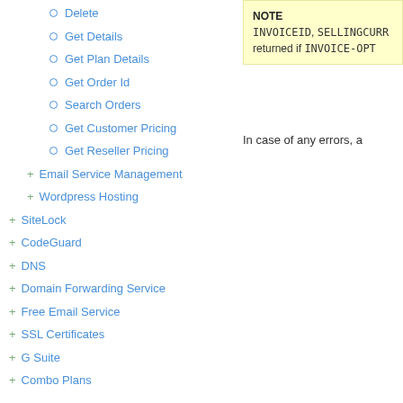Delete
Get Details
Get Plan Details
Get Order Id
Search Orders
Get Customer Pricing
Get Reseller Pricing
Email Service Management
Wordpress Hosting
SiteLock
CodeGuard
DNS
Domain Forwarding Service
Free Email Service
SSL Certificates
G Suite
Combo Plans
NOTE INVOICEID, SELLINGCURR returned if INVOICE-OPT
In case of any errors, a